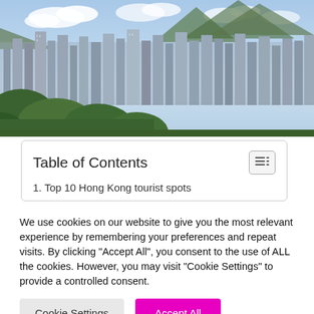[Figure (photo): Aerial panoramic view of Hong Kong cityscape with dense high-rise buildings, green hills and mountains in the background, and a partly cloudy sky above.]
Table of Contents
1. Top 10 Hong Kong tourist spots
We use cookies on our website to give you the most relevant experience by remembering your preferences and repeat visits. By clicking "Accept All", you consent to the use of ALL the cookies. However, you may visit "Cookie Settings" to provide a controlled consent.
Cookie Settings | Accept All